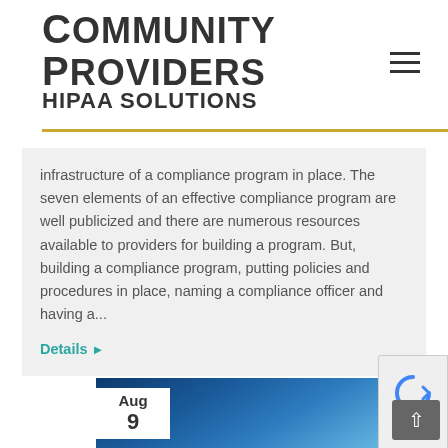COMMUNITY PROVIDERS HIPAA SOLUTIONS
infrastructure of a compliance program in place. The seven elements of an effective compliance program are well publicized and there are numerous resources available to providers for building a program. But, building a compliance program, putting policies and procedures in place, naming a compliance officer and having a...
Details ▶
[Figure (photo): Blue underwater or ocean-themed background image with light rays]